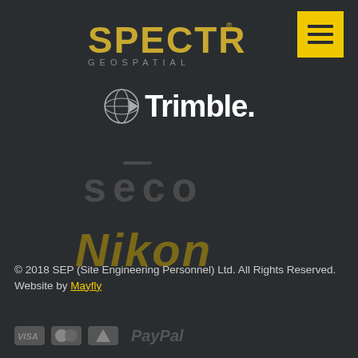[Figure (logo): Spectra Geospatial logo in gold/yellow color with hamburger menu button in yellow square]
[Figure (logo): Trimble logo with globe icon and white text on dark background]
[Figure (logo): SECO logo in dark gray text on dark background]
[Figure (logo): Nikon logo in gold/dark yellow italic text on dark background]
© 2018 SEP (Site Engineering Personnel) Ltd. All Rights Reserved.
Website by Mayfly
[Figure (logo): Payment icons: Visa, Mastercard, and PayPal logos at bottom]